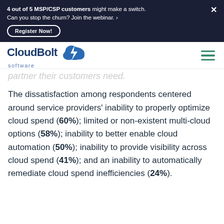4 out of 5 MSP/CSP customers might make a switch. Can you stop the churn? Join the webinar. › Register Now!
[Figure (logo): CloudBolt Software logo with cloud and lightning bolt icon]
partner their customers need.
The dissatisfaction among respondents centered around service providers' inability to properly optimize cloud spend (60%); limited or non-existent multi-cloud options (58%); inability to better enable cloud automation (50%); inability to provide visibility across cloud spend (41%); and an inability to automatically remediate cloud spend inefficiencies (24%).